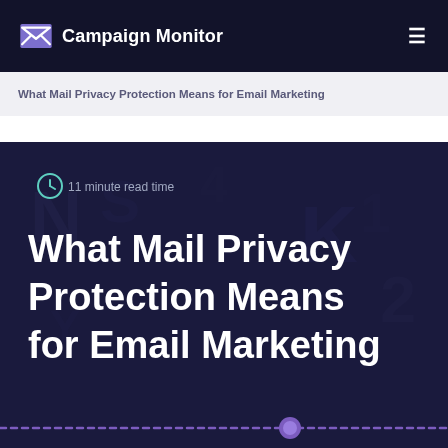Campaign Monitor
What Mail Privacy Protection Means for Email Marketing
[Figure (illustration): Dark navy hero image with faint letter/map overlay texture. Shows clock icon with '11 minute read time' text. Large white bold title: 'What Mail Privacy Protection Means for Email Marketing'. Purple dashed line with a dot at the bottom.]